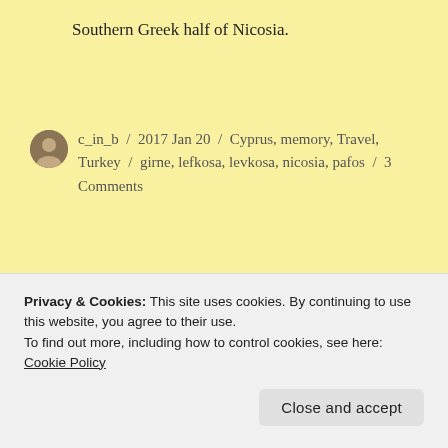Southern Greek half of Nicosia.
c_in_b / 2017 Jan 20 / Cyprus, memory, Travel, Turkey / girne, lefkosa, levkosa, nicosia, pafos / 3 Comments
Rize, the land of Chai: It's all in the Samovar
Privacy & Cookies: This site uses cookies. By continuing to use this website, you agree to their use.
To find out more, including how to control cookies, see here:
Cookie Policy
Close and accept